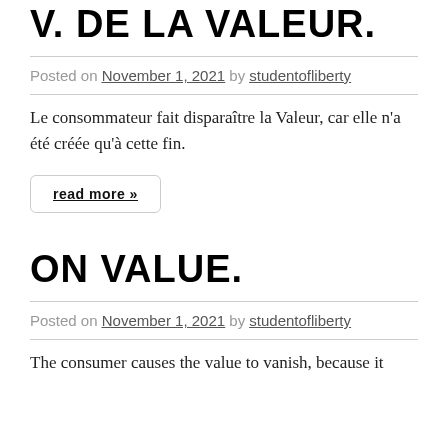V. DE LA VALEUR.
Posted on November 1, 2021 by studentofliberty
Le consommateur fait disparaître la Valeur, car elle n'a été créée qu'à cette fin.
read more »
ON VALUE.
Posted on November 1, 2021 by studentofliberty
The consumer causes the value to vanish, because it